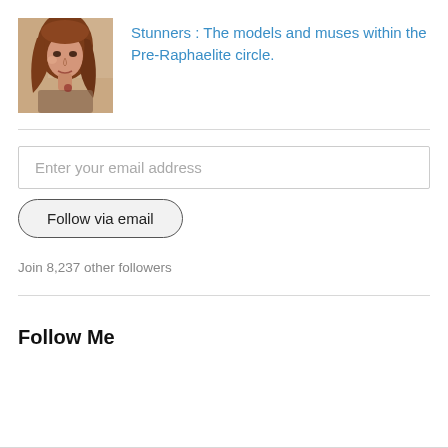[Figure (illustration): Thumbnail image of a Pre-Raphaelite painting showing a woman with red/auburn hair, soft painterly style with warm earth tones.]
Stunners : The models and muses within the Pre-Raphaelite circle.
Enter your email address
Follow via email
Join 8,237 other followers
Follow Me